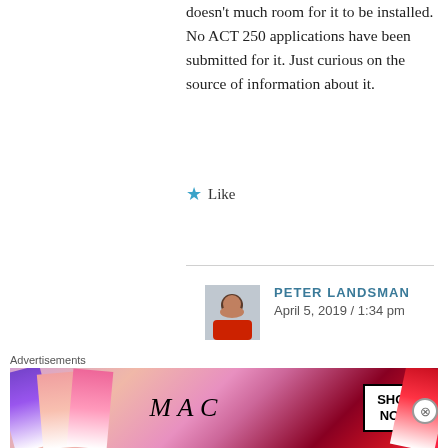doesn't much room for it to be installed. No ACT 250 applications have been submitted for it. Just curious on the source of information about it.
★ Like
PETER LANDSMAN
April 5, 2019 / 1:34 pm
There are two Magic Mountains, one in Idaho and one in Vermont. Both planning to install used chairlifts thi…
Advertisements